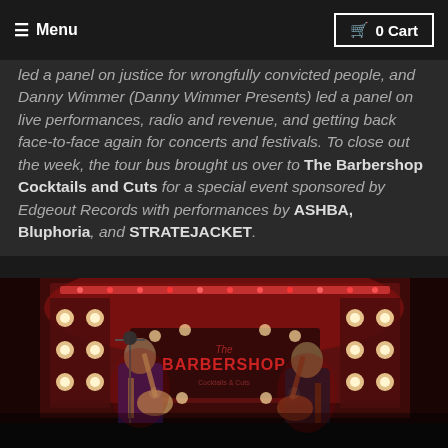≡ Menu | 🛒 0 Cart
led a panel on justice for wrongfully convicted people, and Danny Wimmer (Danny Wimmer Presents) led a panel on live performances, radio and revenue, and getting back face-to-face again for concerts and festivals. To close out the week, the tour bus brought us over to The Barbershop Cocktails and Cuts for a special event sponsored by Edgeout Records with performances by ASHBA, Bluphoria, and STRATEJACKET.
[Figure (photo): Concert performance at The Barbershop venue with red stage lighting, performers with guitars on stage, and The Barbershop logo visible in the background with decorative bulb lights.]